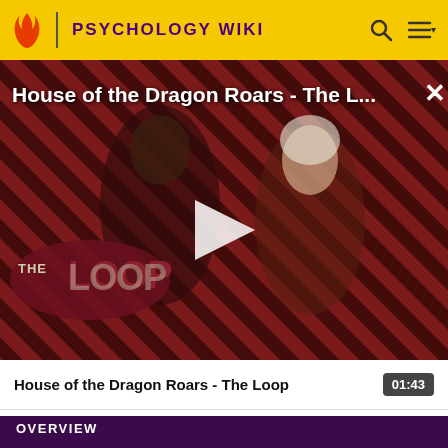PSYCHOLOGY WIKI
[Figure (screenshot): Video thumbnail for 'House of the Dragon Roars - The Loop' showing two characters in medieval-fantasy costumes against a diagonal stripe background. THE LOOP logo is visible in the lower left. A white play button triangle is centered on the thumbnail.]
House of the Dragon Roars - The L...
House of the Dragon Roars - The Loop  01:43
OVERVIEW